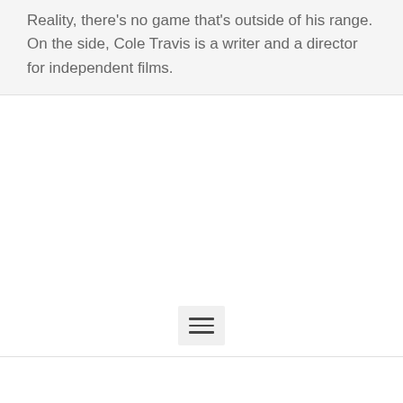Reality, there's no game that's outside of his range. On the side, Cole Travis is a writer and a director for independent films.
[Figure (other): A hamburger menu icon (three horizontal lines) inside a light gray rounded rectangle button, centered near the bottom of the page]